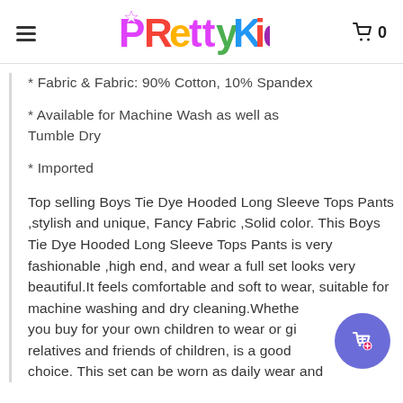PrettyKid
* Fabric & Fabric: 90% Cotton, 10% Spandex
* Available for Machine Wash as well as Tumble Dry
* Imported
Top selling Boys Tie Dye Hooded Long Sleeve Tops Pants ,stylish and unique, Fancy Fabric ,Solid color. This Boys Tie Dye Hooded Long Sleeve Tops Pants is very fashionable ,high end, and wear a full set looks very beautiful.It feels comfortable and soft to wear, suitable for machine washing and dry cleaning.Whether you buy for your own children to wear or give relatives and friends of children, is a good choice. This set can be worn as daily wear and